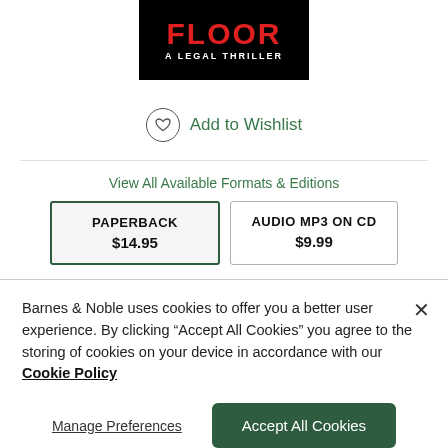[Figure (illustration): Book cover showing title FLOOR in red letters with subtitle A LEGAL THRILLER in white on black background]
Add to Wishlist
View All Available Formats & Editions
| PAPERBACK
$14.95 | AUDIO MP3 ON CD
$9.99 |
Barnes & Noble uses cookies to offer you a better user experience. By clicking "Accept All Cookies" you agree to the storing of cookies on your device in accordance with our Cookie Policy
Manage Preferences
Accept All Cookies